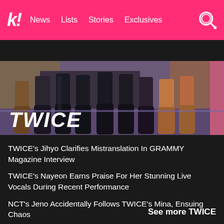k! News Lists Stories Exclusives
BTS BLACKPINK TWICE NCT aespa Girls' Generation
[Figure (photo): Photo of TWICE members' legs with boots on a stage, overlaid with the text TWICE in white italic bold font]
TWICE's Jihyo Clarifies Mistranslation In GRAMMY Magazine Interview
TWICE's Nayeon Earns Praise For Her Stunning Live Vocals During Recent Performance
NCT's Jeno Accidentally Follows TWICE's Mina, Ensuing Chaos
TWICE Cheers On NewJeans At SBS's “Inkigayo,” And Their Reaction Is Too Relatable
See more TWICE